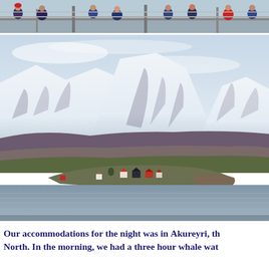[Figure (photo): Top strip photo showing people on a boat deck, partially cropped, viewed from behind]
[Figure (photo): Scenic landscape photo of snow-capped mountains reflected in a fjord, with small colorful houses on a rocky peninsula in the foreground, water in the lower portion. Location appears to be Akureyri area, Iceland.]
Our accommodations for the night was in Akureyri, th... North. In the morning, we had a three hour whale wat...